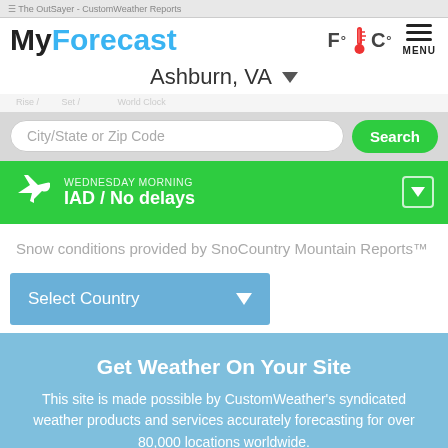The OutSayer - CustomWeather Reports
MyForecast
F°🌡C° MENU
Ashburn, VA
Rise / Set · Sat · Sun · World Clock
City/State or Zip Code Search
WEDNESDAY MORNING IAD / No delays
Snow conditions provided by SnoCountry Mountain Reports™
Select Country
Get Weather On Your Site
This site is made possible by CustomWeather's syndicated weather products and services accurately forecasting for over 80,000 locations worldwide.